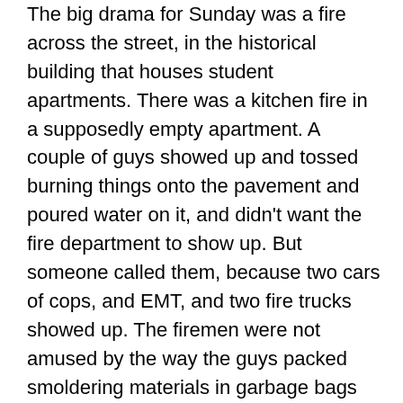The big drama for Sunday was a fire across the street, in the historical building that houses student apartments. There was a kitchen fire in a supposedly empty apartment. A couple of guys showed up and tossed burning things onto the pavement and poured water on it, and didn't want the fire department to show up. But someone called them, because two cars of cops, and EMT, and two fire trucks showed up. The firemen were not amused by the way the guys packed smoldering materials in garbage bags and just poured water on them. Everything had to be undone and checked to make sure it didn't catch again, thank goodness. And the fire department went in and brought out the blackened stove and several rods' of burnt curtains. How did it even start? The apartment's been empty since late May.
The building itself has Historic Preservation status, having